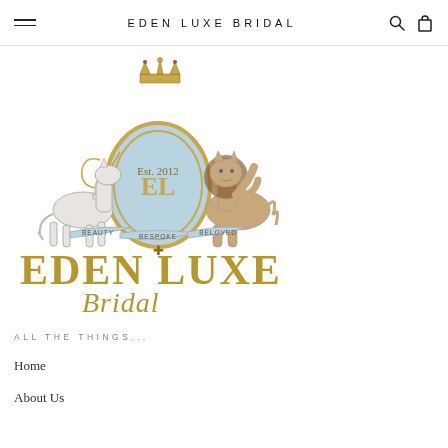EDEN LUXE BRIDAL
[Figure (logo): Eden Luxe Bridal heraldic crest logo with unicorn on left, lion on right, crown on top, ornate oval shield in center with initials, scrollwork and banners reading Beauty, Bespoke, Beloved, below which is text EDEN LUXE Bridal in gold and script]
ALL THE THINGS...
Home
About Us